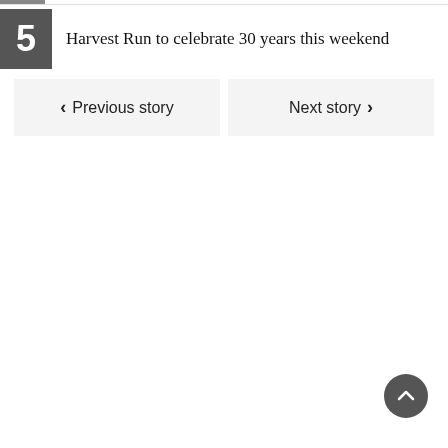5  Harvest Run to celebrate 30 years this weekend
‹ Previous story
Next story ›